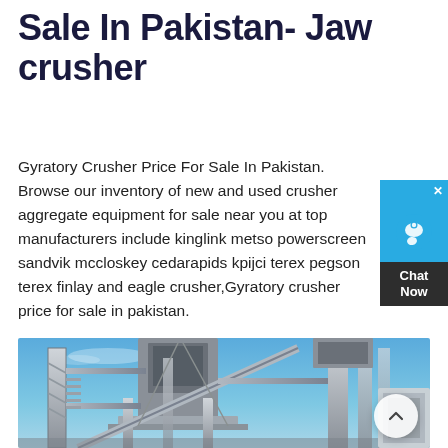Sale In Pakistan- Jaw crusher
Gyratory Crusher Price For Sale In Pakistan. Browse our inventory of new and used crusher aggregate equipment for sale near you at top manufacturers include kinglink metso powerscreen sandvik mccloskey cedarapids kpijci terex pegson terex finlay and eagle crusher,Gyratory crusher price for sale in pakistan.
[Figure (photo): Industrial jaw crusher / gyratory crusher machinery photographed from below against a blue sky, showing steel structural framework, conveyors, and heavy equipment components.]